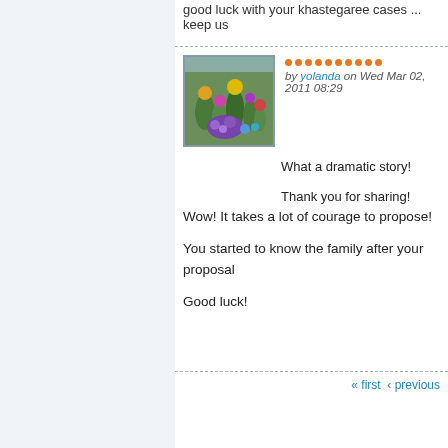good luck with your khastegaree cases ... keep us
by yolanda on Wed Mar 02, 2011 08:29
[Figure (photo): Thumbnail photo of colorful cacti and flowers]
What a dramatic story!

Thank you for sharing!
Wow! It takes a lot of courage to propose!
You started to know the family after your proposal
Good luck!
« first  ‹ previous